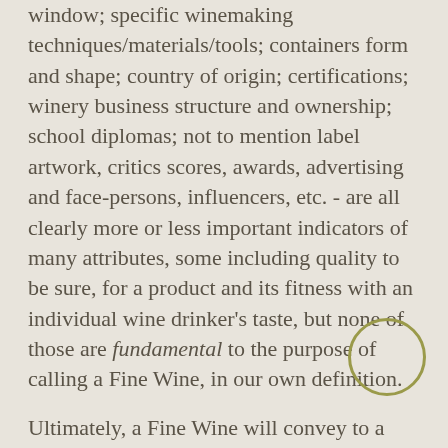window; specific winemaking techniques/materials/tools; containers form and shape; country of origin; certifications; winery business structure and ownership; school diplomas; not to mention label artwork, critics scores, awards, advertising and face-persons, influencers, etc. - are all clearly more or less important indicators of many attributes, some including quality to be sure, for a product and its fitness with an individual wine drinker's taste, but none of those are fundamental to the purpose of calling a Fine Wine, in our own definition.
Ultimately, a Fine Wine will convey to a discerning drinker a very clear and expressive, sometimes almost moving, sense of terroir: the flavors of its patch of land and micro-environment of origin, and the hand of its winemaker. Even another bit more